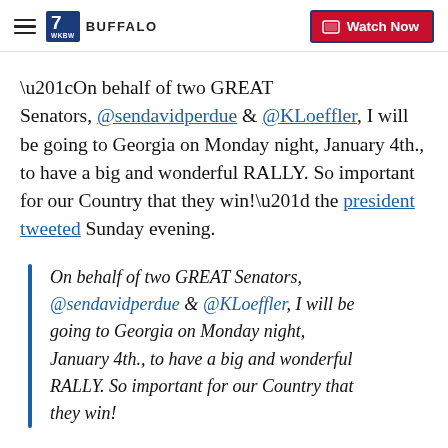7 WKBW BUFFALO — Watch Now
“On behalf of two GREAT Senators, @sendavidperdue & @KLoeffler, I will be going to Georgia on Monday night, January 4th., to have a big and wonderful RALLY. So important for our Country that they win!” the president tweeted Sunday evening.
On behalf of two GREAT Senators, @sendavidperdue & @KLoeffler, I will be going to Georgia on Monday night, January 4th., to have a big and wonderful RALLY. So important for our Country that they win!